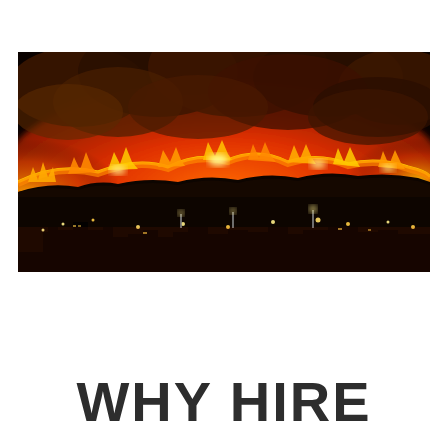[Figure (photo): Night-time wildfire scene showing a massive wall of orange and red flames and thick smoke engulfing hillsides, with city lights and buildings visible in the foreground silhouette.]
WHY HIRE